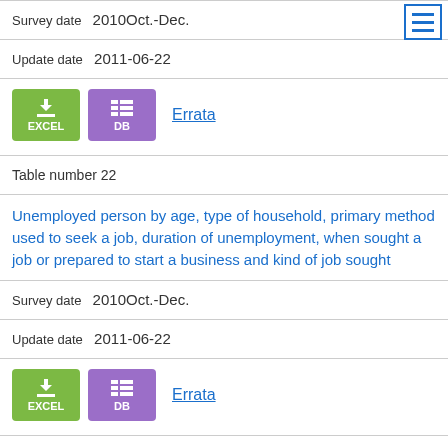Survey date  2010Oct.-Dec.
Update date  2011-06-22
[Figure (infographic): EXCEL download button (green), DB button (purple), Errata link]
Table number 22
Unemployed person by age, type of household, primary method used to seek a job, duration of unemployment, when sought a job or prepared to start a business and kind of job sought
Survey date  2010Oct.-Dec.
Update date  2011-06-22
[Figure (infographic): EXCEL download button (green), DB button (purple), Errata link]
Table number 23